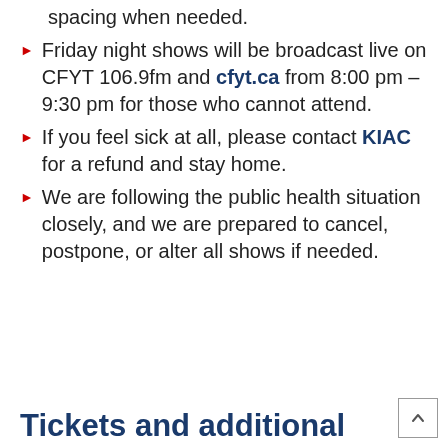spacing when needed.
Friday night shows will be broadcast live on CFYT 106.9fm and cfyt.ca from 8:00 pm – 9:30 pm for those who cannot attend.
If you feel sick at all, please contact KIAC for a refund and stay home.
We are following the public health situation closely, and we are prepared to cancel, postpone, or alter all shows if needed.
Tickets and additional